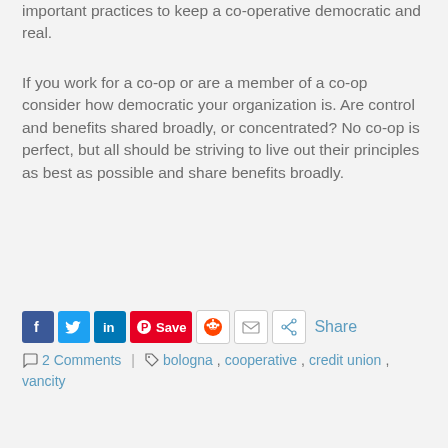important practices to keep a co-operative democratic and real.
If you work for a co-op or are a member of a co-op consider how democratic your organization is. Are control and benefits shared broadly, or concentrated? No co-op is perfect, but all should be striving to live out their principles as best as possible and share benefits broadly.
[Figure (other): Social sharing buttons: Facebook, Twitter, LinkedIn, Pinterest Save, Reddit, Email, Share]
2 Comments | bologna, cooperative, credit union, vancity